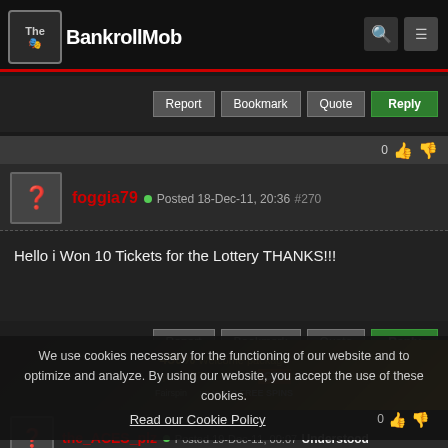The BankrollMob
Report | Bookmark | Quote | Reply
foggia79 - Posted 18-Dec-11, 20:36  #270
Hello i Won 10 Tickets for the Lottery THANKS!!!
Report | Bookmark | Quote | Reply
We use cookies necessary for the functioning of our website and to optimize and analyze. By using our website, you accept the use of these cookies.
Read our Cookie Policy
the_ACES_plz - Posted 19-Dec-11, 00:07  Understood
200 mobpoints ole ole after 234 empty boxes 🙂